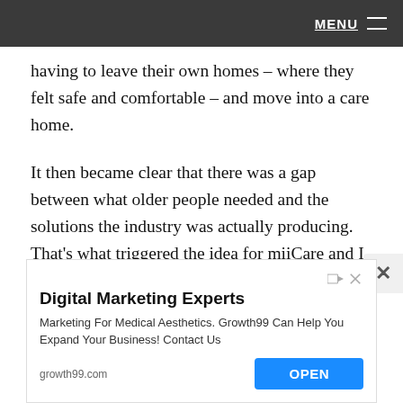MENU
having to leave their own homes – where they felt safe and comfortable – and move into a care home.
It then became clear that there was a gap between what older people needed and the solutions the industry was actually producing. That's what triggered the idea for miiCare and I was already confident it had a clear space in the market.
Find ways to meet members of your target market.  Discuss their needs and challenges, and float your idea to them.  This is essential to understanding your market viability.
[Figure (screenshot): Advertisement banner for Digital Marketing Experts – Growth99 for Medical Aesthetics with an OPEN button and growth99.com URL]